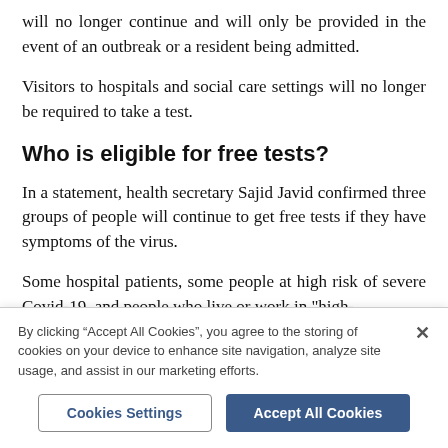will no longer continue and will only be provided in the event of an outbreak or a resident being admitted.
Visitors to hospitals and social care settings will no longer be required to take a test.
Who is eligible for free tests?
In a statement, health secretary Sajid Javid confirmed three groups of people will continue to get free tests if they have symptoms of the virus.
Some hospital patients, some people at high risk of severe Covid-19, and people who live or work in "high-
By clicking “Accept All Cookies”, you agree to the storing of cookies on your device to enhance site navigation, analyze site usage, and assist in our marketing efforts.
Cookies Settings
Accept All Cookies